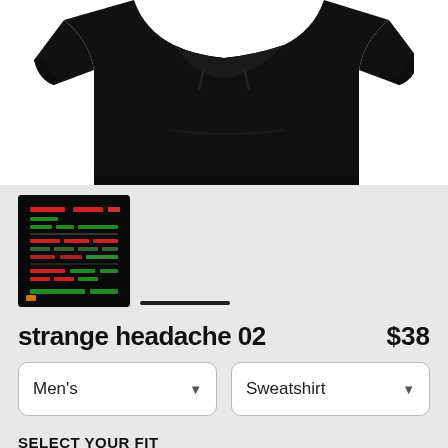[Figure (photo): Black sweatshirt product photo shown from front, cropped to show torso area against white background]
[Figure (photo): Small thumbnail of the sweatshirt design with colorful text/graphic on dark background]
strange headache 02    $38
Men's   Sweatshirt
SELECT YOUR FIT
$38
French Terry
$48
Sponge Fleece